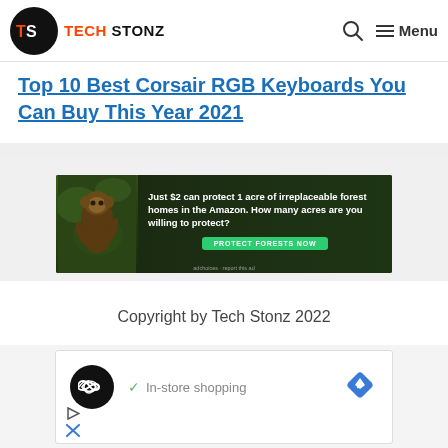TECH STONZ — Menu
Top 10 Best Corsair RGB Keyboards You Can Buy This Year 2021
[Figure (photo): Advertisement banner for Amazon forest protection. Image shows a monkey/sloth in a lush green forest. Text reads: 'Just $2 can protect 1 acre of irreplaceable forest homes in the Amazon. How many acres are you willing to protect?' with a green button 'PROTECT FORESTS NOW'.]
Copyright by Tech Stonz 2022
[Figure (screenshot): Advertisement box showing a black circular icon with infinity symbol, a blue diamond navigation icon, text 'In-store shopping' with a green checkmark, and small ad icons (play triangle, X) at the bottom left.]